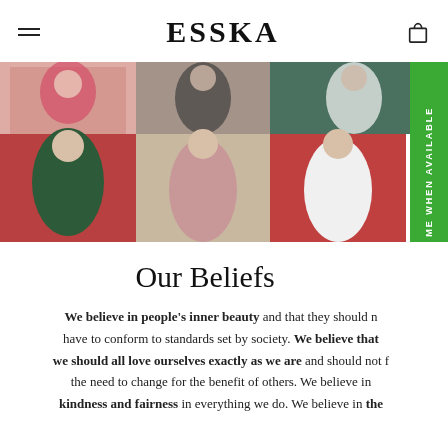ESSKA
[Figure (photo): Six-panel photo grid showing women in colorful clothing against colored backgrounds: top row shows three women in pink/floral, black, and dark outfits; bottom row shows three women in dark green coat, pink blazer, and white blazer]
Our Beliefs
We believe in people's inner beauty and that they should not have to conform to standards set by society. We believe that we should all love ourselves exactly as we are and should not feel the need to change for the benefit of others. We believe in kindness and fairness in everything we do. We believe in the